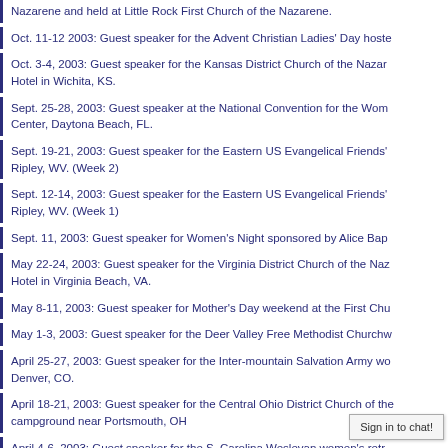Nazarene and held at Little Rock First Church of the Nazarene.
Oct. 11-12 2003:  Guest speaker for the Advent Christian Ladies' Day hosted…
Oct. 3-4, 2003:  Guest speaker for the Kansas District Church of the Nazarene… Hotel in Wichita, KS.
Sept. 25-28, 2003:  Guest speaker at the National Convention for the Women's… Center, Daytona Beach, FL.
Sept. 19-21, 2003:  Guest speaker for the Eastern US Evangelical Friends'… Ripley, WV.  (Week 2)
Sept. 12-14, 2003:  Guest speaker for the Eastern US Evangelical Friends'… Ripley, WV.  (Week 1)
Sept. 11, 2003:  Guest speaker for Women's Night sponsored by Alice Bap…
May 22-24, 2003:  Guest speaker for the Virginia District Church of the Nazarene… Hotel in Virginia Beach, VA.
May 8-11, 2003:  Guest speaker for Mother's Day weekend at the First Chu…
May 1-3, 2003:  Guest speaker for the Deer Valley Free Methodist Churchw…
April 25-27, 2003:  Guest speaker for the Inter-mountain Salvation Army wo… Denver, CO.
April 18-21, 2003:  Guest speaker for the Central Ohio District Church of th… campground near Portsmouth, OH
April 4-6, 2003:  Guest speaker for the S. Carolina Wesleyan  women's retr… Beach, SC.
March 28-29, 2003:  Guest speaker for the…